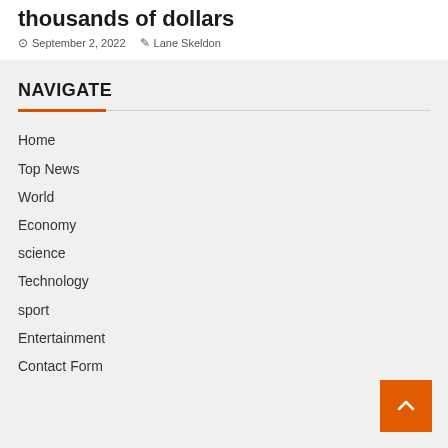thousands of dollars
September 2, 2022  Lane Skeldon
NAVIGATE
Home
Top News
World
Economy
science
Technology
sport
Entertainment
Contact Form